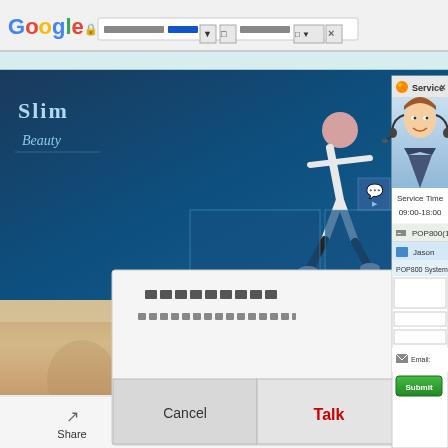[Figure (screenshot): Browser screenshot showing a Google Chrome browser window with a Thai health/beauty website (Slim Beauty) open. A service chat popup is visible on the right side with agent 'Jason' and POP800 system. A dialog box in the center shows Cancel and Talk buttons. The bottom shows Share and Call icons. The main website content includes exercise images with labels 'Thighs' and 'Hamstrings', and a belly/torso image on the left.]